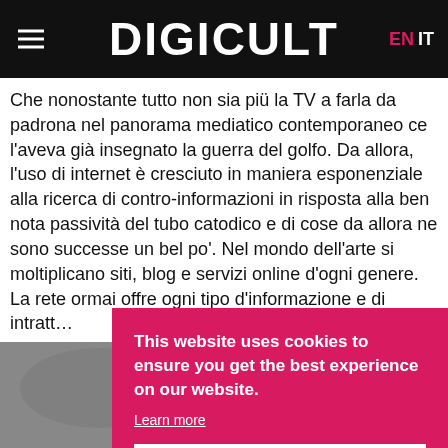DIGICULT  EN  IT
Che nonostante tutto non sia più la TV a farla da padrona nel panorama mediatico contemporaneo ce l'aveva già insegnato la guerra del golfo. Da allora, l'uso di internet è cresciuto in maniera esponenziale alla ricerca di contro-informazioni in risposta alla ben nota passività del tubo catodico e di cose da allora ne sono successe un bel po'. Nel mondo dell'arte si moltiplicano siti, blog e servizi online d'ogni genere. La rete ormai offre ogni tipo d'informazione e di intratt...
ART
[Figure (photo): Grayscale photo partially visible at the bottom of the page]
This website uses cookies to ensure you get the best experience on our website. Learn more Got it